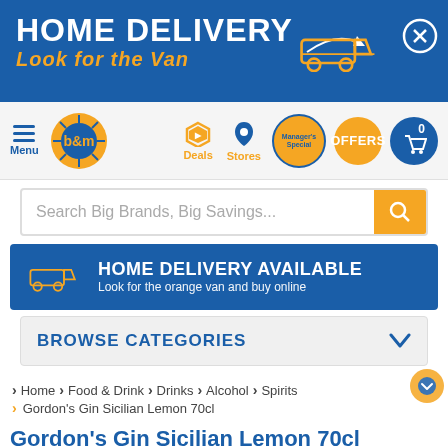[Figure (screenshot): B&M store home delivery banner with white text 'HOME DELIVERY' and orange italic text 'LOOK FOR THE VAN', with van icon and close button]
[Figure (screenshot): B&M navigation bar with hamburger menu, B&M logo, Deals tag icon, Stores pin icon, Manager's Special badge, OFFERS orange button, and cart button]
Search Big Brands, Big Savings...
[Figure (infographic): Blue banner with van icon: HOME DELIVERY AVAILABLE - Look for the orange van and buy online]
BROWSE CATEGORIES
> Home > Food & Drink > Drinks > Alcohol > Spirits
> Gordon's Gin Sicilian Lemon 70cl
Gordon's Gin Sicilian Lemon 70cl
Product code: 362004